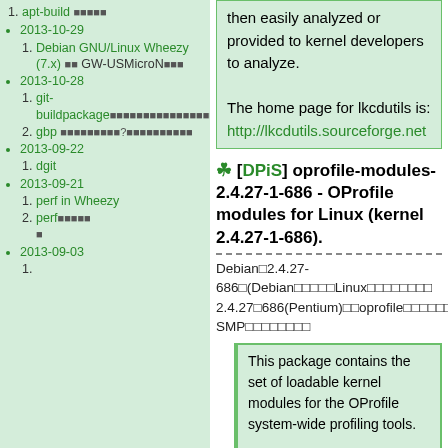1. apt-build [squares]
2013-10-29
1. Debian GNU/Linux Wheezy (7.x) [squares] GW-USMicroN [squares]
2013-10-28
1. git-buildpackage [squares]
2. gbp [squares] [squares]?[squares]
2013-09-22
1. dgit
2013-09-21
1. perf in Wheezy
2. perf[squares]
2013-09-03
1.
then easily analyzed or provided to kernel developers to analyze.

The home page for lkcdutils is:
http://lkcdutils.sourceforge.net
[DPiS] oprofile-modules-2.4.27-1-686 - OProfile modules for Linux (kernel 2.4.27-1-686).
Debian□2.4.27-686□(Debian□□□□□Linux□□□□□□□□ 2.4.27□686(Pentium)□□oprofile□□□□□□□□386□k7□ SMP□□□□□□□□
This package contains the set of loadable kernel modules for the OProfile system-wide profiling tools.

This package contains the compiled kernel modules for